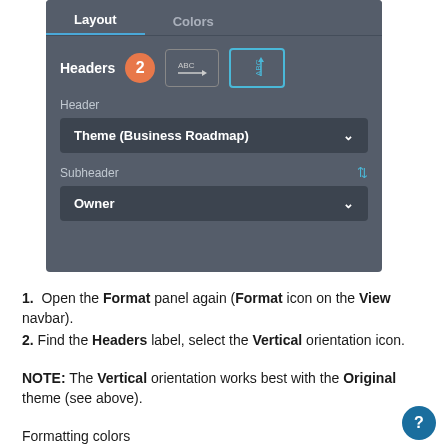[Figure (screenshot): UI panel showing Layout and Colors tabs, with Headers section (badge 2, horizontal and vertical orientation icons), Header dropdown set to 'Theme (Business Roadmap)', Subheader label with sort icon, and Owner dropdown.]
1.  Open the Format panel again (Format icon on the View navbar).
2. Find the Headers label, select the Vertical orientation icon.
NOTE: The Vertical orientation works best with the Original theme (see above).
Formatting colors